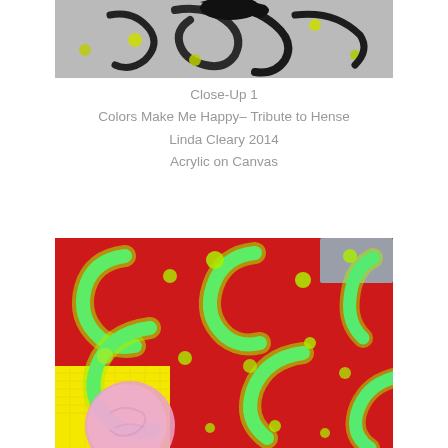[Figure (photo): Close-up view of an abstract painting showing dark swirling brushstrokes on a gray/black textured canvas with yellow-green dots]
Close-Up 1
Colors Make Me Happy- Tribute to Hense
Linda Cleary 2014
Acrylic on Canvas
[Figure (photo): Close-up view of an abstract painting on red canvas featuring cyan and lime green C-shaped brushstrokes, yellow-green dots, a yellow rectangle area, and a pink circular shape in the lower left, with gray in the upper right corner]